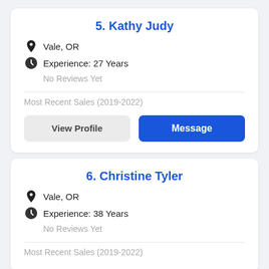5. Kathy Judy
Vale, OR
Experience: 27 Years
No Reviews Yet
Most Recent Sales (2019-2022)
View Profile
Message
6. Christine Tyler
Vale, OR
Experience: 38 Years
No Reviews Yet
Most Recent Sales (2019-2022)